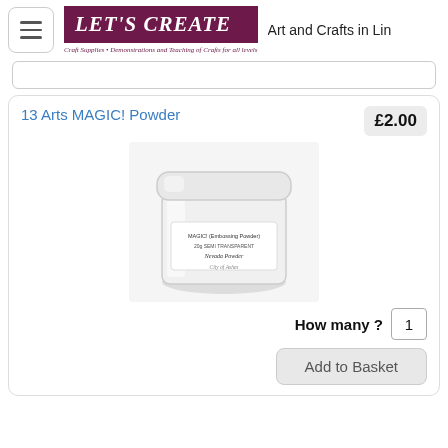[Figure (logo): Hamburger menu button icon (three horizontal lines) in a rounded rectangle]
[Figure (logo): LET'S CREATE logo in dark magenta/maroon box with italic white bold serif text, tagline below: Craft Supplies • Demonstrations and Teaching of Crafts for all levels]
Art and Crafts in Lin
13 Arts MAGIC! Powder
£2.00
[Figure (photo): White cylindrical jar of 13 Arts MAGIC! Powder product with white lid and label, on white background]
How many ?  1
Add to Basket